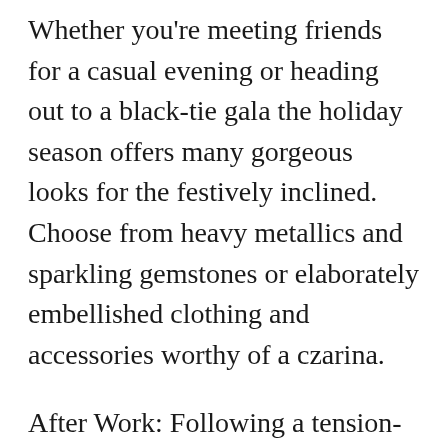Whether you're meeting friends for a casual evening or heading out to a black-tie gala the holiday season offers many gorgeous looks for the festively inclined. Choose from heavy metallics and sparkling gemstones or elaborately embellished clothing and accessories worthy of a czarina.
After Work: Following a tension-packed workday simply slip a sequined or beaded top under a tweed jacket. Pair it with a tweed skirt or trousers, add a sexier shoe and small clutch et voila!
Trend Tip: Keep a stash of party time quick